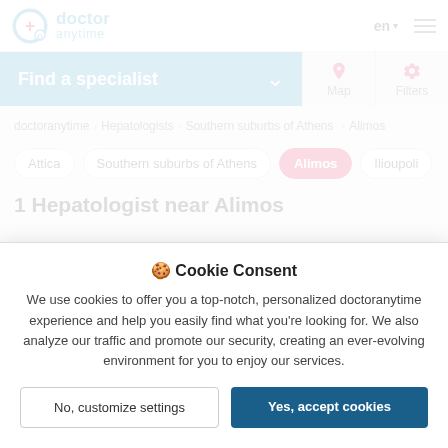doctor anytime | en | Menu
Find a specialist
Map | Filters
doctoranytime > Hepatologists > Southern suburbs of Athens > Alimos
Attica
Southern suburbs of Athens
Alimos
Ilioupoli
1 Hepatologist near Alimos
🍪 Cookie Consent
We use cookies to offer you a top-notch, personalized doctoranytime experience and help you easily find what you're looking for. We also analyze our traffic and promote our security, creating an ever-evolving environment for you to enjoy our services.
No, customize settings
Yes, accept cookies